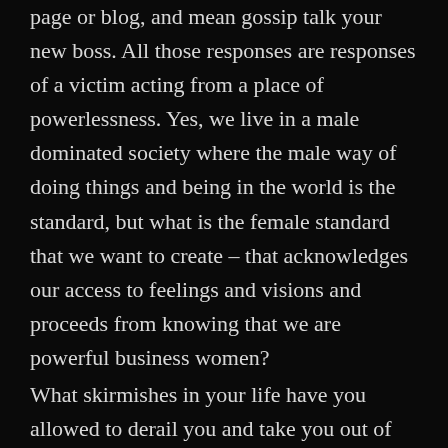page or blog, and mean gossip talk your new boss. All those responses are responses of a victim acting from a place of powerlessness. Yes, we live in a male dominated society where the male way of doing things and being in the world is the standard, but what is the female standard that we want to create – that acknowledges our access to feelings and visions and proceeds from knowing that we are powerful business women?
What skirmishes in your life have you allowed to derail you and take you out of the game? If those skirmishes were a long time ago, you might be able to see a bigger picture by now. That's what those Martian